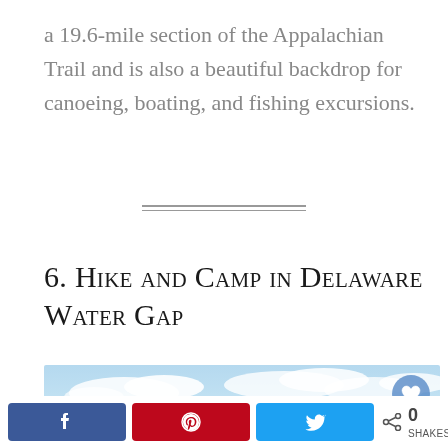a 19.6-mile section of the Appalachian Trail and is also a beautiful backdrop for canoeing, boating, and fishing excursions.
6. Hike and Camp in Delaware Water Gap
[Figure (photo): Aerial view of forested mountain ridges under a partly cloudy blue sky, likely Delaware Water Gap area.]
[Figure (other): Bottom social sharing bar with Facebook, Pinterest, Twitter buttons and a share count of 0.]